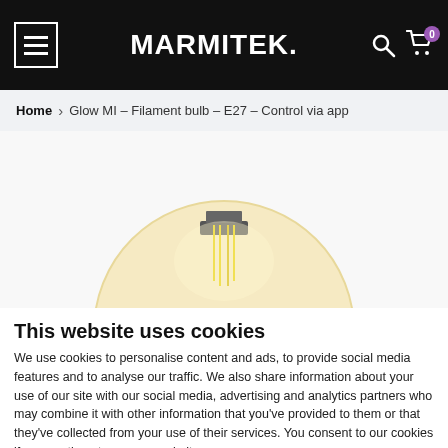MARMITEK.
Home > Glow MI – Filament bulb – E27 – Control via app
[Figure (photo): Close-up photo of a Marmitek Glow MI smart filament light bulb (E27), showing the amber glass globe and visible LED filaments inside.]
This website uses cookies
We use cookies to personalise content and ads, to provide social media features and to analyse our traffic. We also share information about your use of our site with our social media, advertising and analytics partners who may combine it with other information that you've provided to them or that they've collected from your use of their services. You consent to our cookies if you continue to use our website.
Allow selection | Allow all cookies